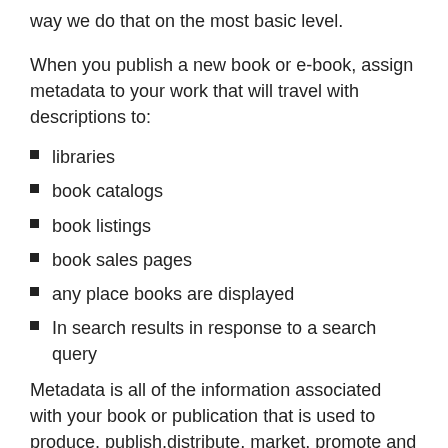way we do that on the most basic level.
When you publish a new book or e-book, assign metadata to your work that will travel with descriptions to:
libraries
book catalogs
book listings
book sales pages
any place books are displayed
In search results in response to a search query
Metadata is all of the information associated with your book or publication that is used to produce, publish,distribute, market, promote and sell your (e)book. This includes very simple things, such as